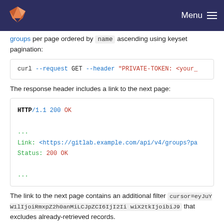GitLab — Menu
groups per page ordered by name ascending using keyset pagination:
curl --request GET --header "PRIVATE-TOKEN: <your_
The response header includes a link to the next page:
HTTP/1.1 200 OK
...
Link: <https://gitlab.example.com/api/v4/groups?pa
Status: 200 OK
...
The link to the next page contains an additional filter cursor=eyJuYW1lIjoiRmxpZ2h0anMiLCJpZCI6IjI2Ii wiX2tkIjoibiJ9 that excludes already-retrieved records.